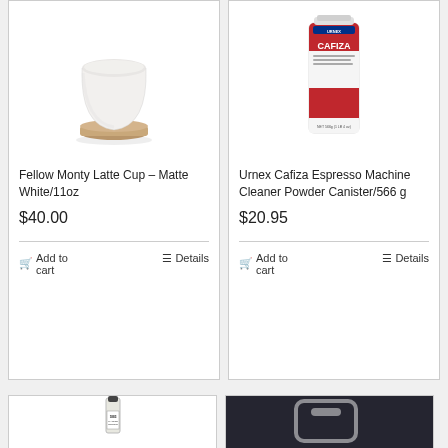[Figure (photo): Fellow Monty Latte Cup – Matte White, a white cylindrical cup on a wooden base]
Fellow Monty Latte Cup – Matte White/11oz
$40.00
Add to cart
Details
[Figure (photo): Urnex Cafiza Espresso Machine Cleaner Powder Canister 566g – red and white canister]
Urnex Cafiza Espresso Machine Cleaner Powder Canister/566 g
$20.95
Add to cart
Details
[Figure (photo): Small bottle of 1883 syrup product]
[Figure (photo): Blurred photo showing white container handle on dark background]